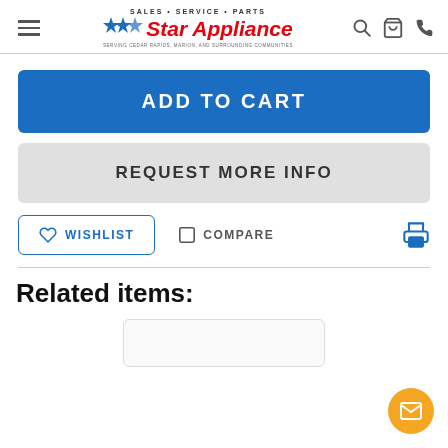Star Appliance — Sales · Service · Parts — Serving Cedar Rapids, Marion, and Surrounding Communities
ADD TO CART
REQUEST MORE INFO
WISHLIST
COMPARE
Related items: